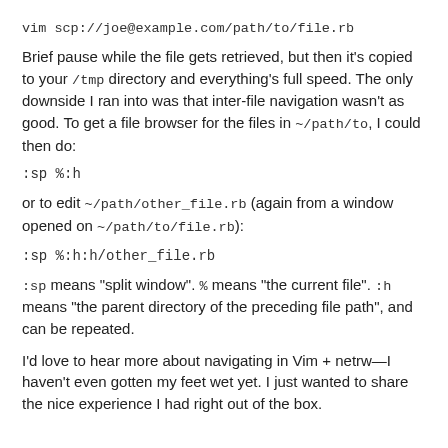vim scp://joe@example.com/path/to/file.rb
Brief pause while the file gets retrieved, but then it's copied to your /tmp directory and everything's full speed. The only downside I ran into was that inter-file navigation wasn't as good. To get a file browser for the files in ~/path/to, I could then do:
:sp %:h
or to edit ~/path/other_file.rb (again from a window opened on ~/path/to/file.rb):
:sp %:h:h/other_file.rb
:sp means "split window". % means "the current file". :h means "the parent directory of the preceding file path", and can be repeated.
I'd love to hear more about navigating in Vim + netrw—I haven't even gotten my feet wet yet. I just wanted to share the nice experience I had right out of the box.